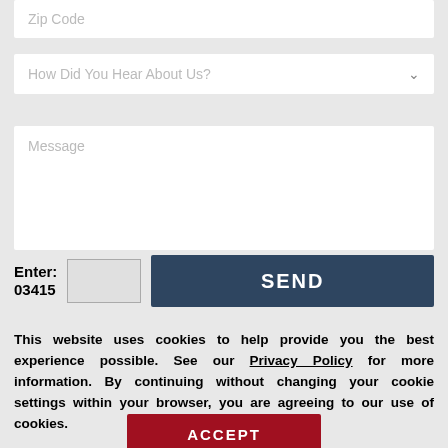Zip Code
How Did You Hear About Us?
Message
Enter: 03415
SEND
This website uses cookies to help provide you the best experience possible. See our Privacy Policy for more information. By continuing without changing your cookie settings within your browser, you are agreeing to our use of cookies.
ACCEPT